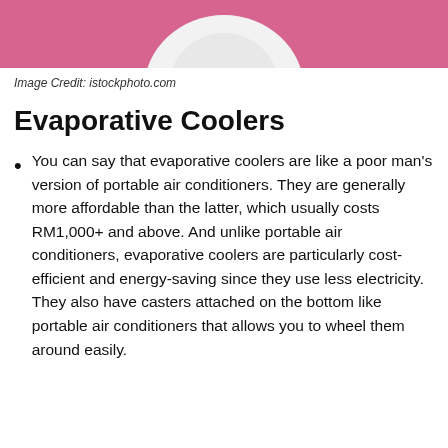[Figure (photo): Partial image of a person in a white shirt against a pink background, cropped at top of page.]
Image Credit: istockphoto.com
Evaporative Coolers
You can say that evaporative coolers are like a poor man’s version of portable air conditioners. They are generally more affordable than the latter, which usually costs RM1,000+ and above. And unlike portable air conditioners, evaporative coolers are particularly cost-efficient and energy-saving since they use less electricity. They also have casters attached on the bottom like portable air conditioners that allows you to wheel them around easily.